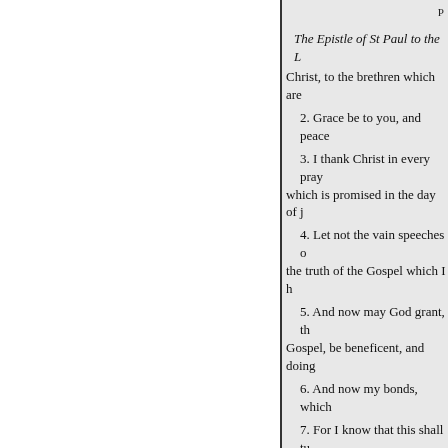P
The Epistle of St Paul to the L
Christ, to the brethren which are
2. Grace be to you, and peace
3. I thank Christ in every pray which is promised in the day of j
4. Let not the vain speeches o the truth of the Gospel which I h
5. And now may God grant, th Gospel, be beneficent, and doing
6. And now my bonds, which
7. For I know that this shall tu supply of the Holy Spirit.
8. Whether I live or die; (for)
9. And our Lord will grant us
10. Wherefore, my beloved, as shall be to you life eternal.
11. For it is God who worketh in